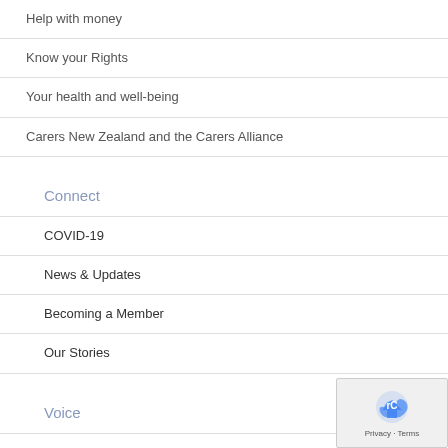Help with money
Know your Rights
Your health and well-being
Carers New Zealand and the Carers Alliance
Connect
COVID-19
News & Updates
Becoming a Member
Our Stories
Voice
Definition Document